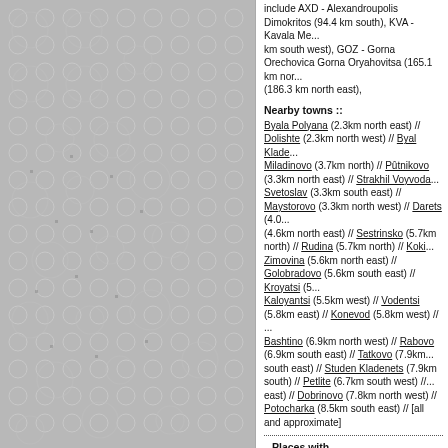include AXD - Alexandroupolis Dimokritos (94.4 km south), KVA - Kavala Me... km south west), GOZ - Gorna Orechovica Gorna Oryahovitsa (165.1 km nor... (186.3 km north east),
Nearby towns ::
Byala Polyana (2.3km north east) // Dolishte (2.3km north west) // Byal Klade... Miladinovo (3.7km north) // Pûtnikovo (3.3km north east) // Strakhil Voyvoda... Svetoslav (3.3km south east) // Maystorovo (3.3km north west) // Darets (4.0... (4.6km north east) // Sestrinsko (5.7km north) // Rudina (5.7km north) // Koki... Zimovina (5.6km north east) // Golobradovo (5.6km south east) // Kroyatsi (5... Kaloyantsi (5.5km west) // Vodentsi (5.8km east) // Konevod (5.8km west) // ... Bashtino (6.9km north west) // Rabovo (6.9km south east) // Tatkovo (7.9km... south east) // Studen Kladenets (7.9km south) // Petlite (6.7km south west) //... east) // Dobrinovo (7.8km north west) // Potocharka (8.5km south east) // [all and approximate]
Places with similar names: Konevo, B... // Kenova (U... Cannava (I... (PT) // Kani... Konevo (BO... Kannova (L...
Disclaimer: Information... warranty of...